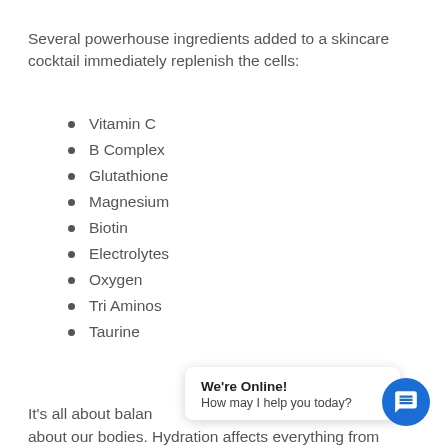Several powerhouse ingredients added to a skincare cocktail immediately replenish the cells:
Vitamin C
B Complex
Glutathione
Magnesium
Biotin
Electrolytes
Oxygen
Tri Aminos
Taurine
It's all about balan... b... about our bodies. Hydration affects everything from